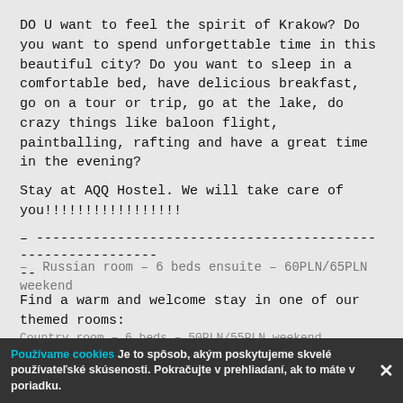DO U want to feel the spirit of Krakow? Do you want to spend unforgettable time in this beautiful city? Do you want to sleep in a comfortable bed, have delicious breakfast, go on a tour or trip, go at the lake, do crazy things like baloon flight, paintballing, rafting and have a great time in the evening?
Stay at AQQ Hostel. We will take care of you!!!!!!!!!!!!!!!!!
– -----------------------------------------------------------
--
Find a warm and welcome stay in one of our themed rooms:
( prices per person per night )
Cracovia room - 4 beds - 60PLN/65PLN weekend
Secret room - 6 beds - 55PLN/60PLN weekend
Russian room – 6 beds ensuite – 60PLN/65PLN weekend
Country room – 6 beds – 50PLN/55PLN weekend
Používame cookies Je to spôsob, akým poskytujeme skvelé používateľské skúsenosti. Pokračujte v prehliadaní, ak to máte v poriadku.